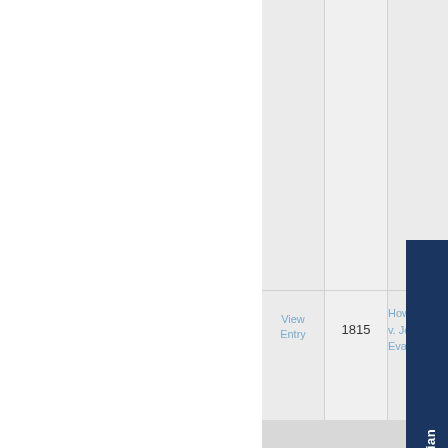| View Entry | Year | Case Name |
| --- | --- | --- |
| View Entry | 1815 | Howell T. v. John B. Evans |
Click Here to Chat with a Librarian